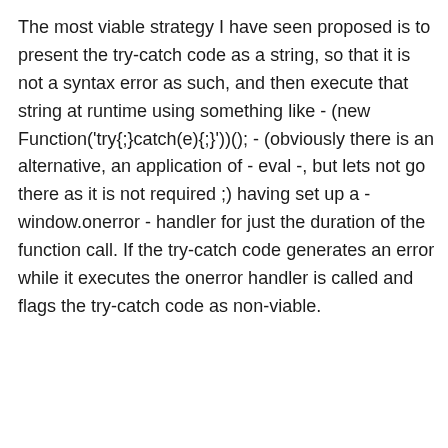The most viable strategy I have seen proposed is to present the try-catch code as a string, so that it is not a syntax error as such, and then execute that string at runtime using something like - (new Function('try{;}catch(e){;}'))(); - (obviously there is an alternative, an application of - eval -, but lets not go there as it is not required ;) having set up a - window.onerror - handler for just the duration of the function call. If the try-catch code generates an error while it executes the onerror handler is called and flags the try-catch code as non-viable.